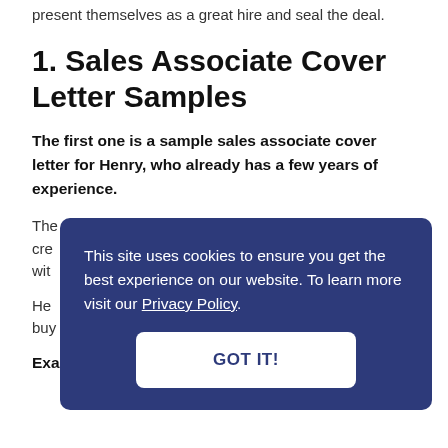present themselves as a great hire and seal the deal.
1. Sales Associate Cover Letter Samples
The first one is a sample sales associate cover letter for Henry, who already has a few years of experience.
The store hiring is seeking a sales associate that can cre... wit...
He... buy...
Example #1. Sales Associate Cover Letter
[Figure (screenshot): Cookie consent overlay with dark blue background. Text reads: 'This site uses cookies to ensure you get the best experience on our website. To learn more visit our Privacy Policy.' with a white 'GOT IT!' button below.]